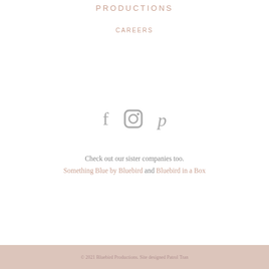PRODUCTIONS
CAREERS
[Figure (illustration): Social media icons: Facebook (f), Instagram (camera), Pinterest (p) in gray]
Check out our sister companies too.
Something Blue by Bluebird and Bluebird in a Box
© 2021 Bluebird Productions. Site designed Patrol Tran